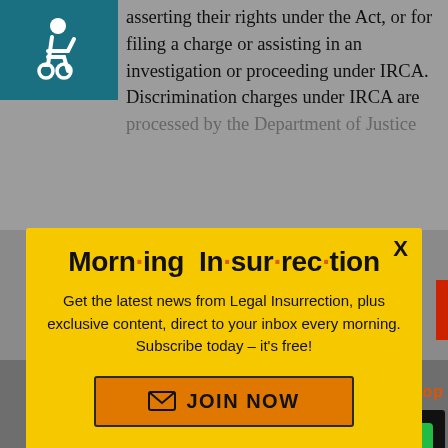asserting their rights under the Act, or for filing a charge or assisting in an investigation or proceeding under IRCA. Discrimination charges under IRCA are processed by the Department of Justice
[Figure (illustration): Accessibility icon - white wheelchair user symbol on teal/dark cyan background square]
for green cards or non-citizens. I do think it's the kind of thing they
[Figure (infographic): Morning Insurrection newsletter popup modal with yellow background. Title reads 'Morn·ing In·sur·rec·tion' with orange dots between syllables. Body text: 'Get the latest news from Legal Insurrection, plus exclusive content, direct to your inbox every morning. Subscribe today – it's free!' with an orange JOIN NOW button with envelope icon. X close button in top right corner.]
back to top
[Figure (infographic): Fiverr advertisement banner - black background with white fiverr logo on left and green 'Start Now' button on right]